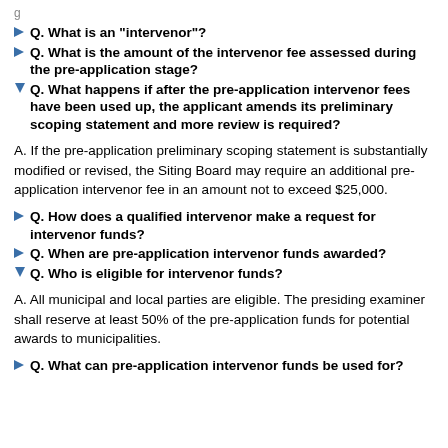Q. What is an "intervenor"?
Q. What is the amount of the intervenor fee assessed during the pre-application stage?
Q. What happens if after the pre-application intervenor fees have been used up, the applicant amends its preliminary scoping statement and more review is required?
A. If the pre-application preliminary scoping statement is substantially modified or revised, the Siting Board may require an additional pre-application intervenor fee in an amount not to exceed $25,000.
Q. How does a qualified intervenor make a request for intervenor funds?
Q. When are pre-application intervenor funds awarded?
Q. Who is eligible for intervenor funds?
A. All municipal and local parties are eligible. The presiding examiner shall reserve at least 50% of the pre-application funds for potential awards to municipalities.
Q. What can pre-application intervenor funds be used for?